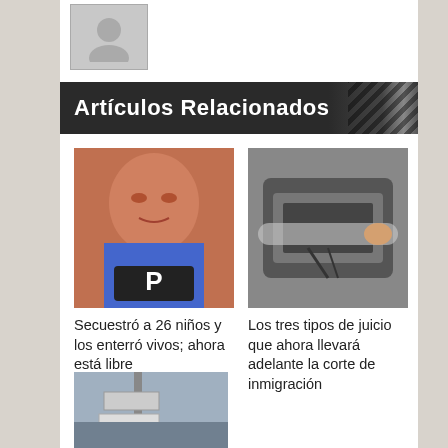[Figure (photo): Generic user avatar placeholder icon in gray]
Artículos Relacionados
[Figure (photo): Mugshot of an elderly man in a blue shirt with a booking sign]
[Figure (photo): Person lying down being slid into an MRI or similar medical machine]
Secuestró a 26 niños y los enterró vivos; ahora está libre
Los tres tipos de juicio que ahora llevará adelante la corte de inmigración
[Figure (photo): Street or road sign post outdoors]